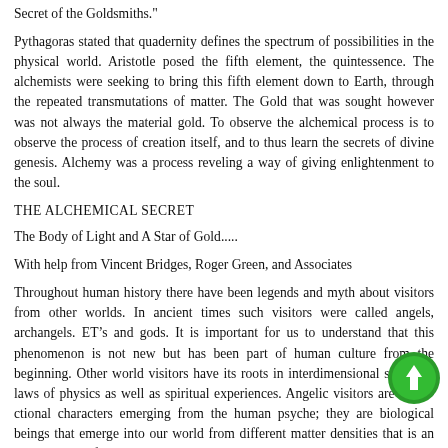Secret of the Goldsmiths."
Pythagoras stated that quadernity defines the spectrum of possibilities in the physical world. Aristotle posed the fifth element, the quintessence. The alchemists were seeking to bring this fifth element down to Earth, through the repeated transmutations of matter. The Gold that was sought however was not always the material gold. To observe the alchemical process is to observe the process of creation itself, and to thus learn the secrets of divine genesis. Alchemy was a process reveling a way of giving enlightenment to the soul.
THE ALCHEMICAL SECRET
The Body of Light and A Star of Gold.....
With help from Vincent Bridges, Roger Green, and Associates
Throughout human history there have been legends and myth about visitors from other worlds. In ancient times such visitors were called angels, archangels. ET’s and gods. It is important for us to understand that this phenomenon is not new but has been part of human culture from the beginning. Other world visitors have its roots in interdimensional scientific laws of physics as well as spiritual experiences. Angelic visitors are not fictional characters emerging from the human psyche; they are biological beings that emerge into our world from different matter densities that is an inherent part of a multi dimensional
[Figure (other): Green circular upload/arrow icon overlaid on bottom-right of text]